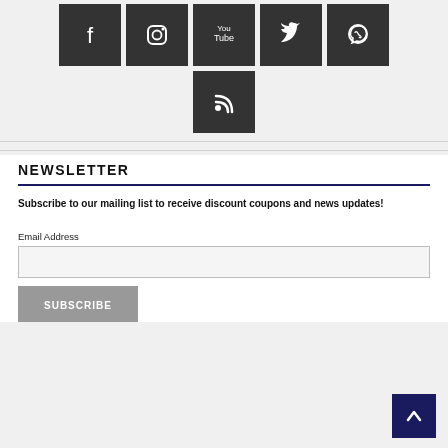[Figure (other): Social media icons row: Facebook, Instagram, YouTube, Twitter, WhatsApp, and RSS icons as white icons on dark square backgrounds]
NEWSLETTER
Subscribe to our mailing list to receive discount coupons and news updates!
Email Address
[Figure (other): Back to top button with upward arrow on dark navy background]